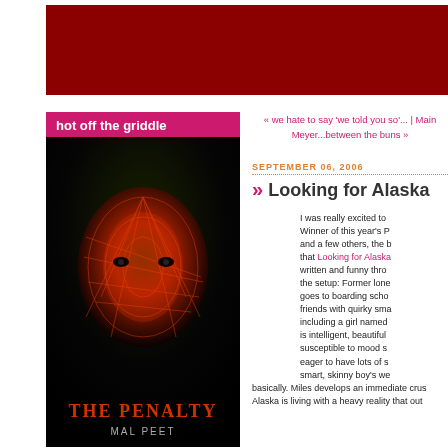[Figure (other): Dark red/maroon banner header area]
hot off the griddle
[Figure (photo): Book cover: 'The Penalty' by Mal Peet, showing a face with red geometric overlay patterns on dark background]
« we hate to say 'we told you so'... | Main Meyer...between the buns »
SEPTEMBER 06, 2006
» Looking for Alaska
I was really excited to Winner of this year's P and a few others, the b that Looking for Alaska written and funny thro the setup: Former lone goes to boarding scho friends with quirky sma including a girl named is intelligent, beautiful susceptible to mood s eager to have lots of s smart, skinny boy's we basically. Miles develops an immediate crus Alaska is living with a heavy reality that out